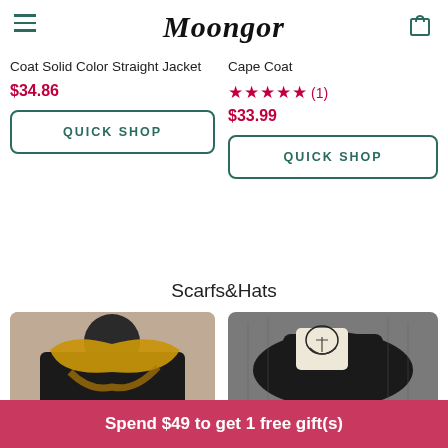Moongor
Coat Solid Color Straight Jacket
$34.86
Cape Coat
★★★★★ (1)
$33.99
QUICK SHOP
QUICK SHOP
Scarfs&Hats
[Figure (photo): Person wearing a mustard yellow scarf and dark clothing]
[Figure (photo): Black hat with an embroidered face illustration]
Spend $49 to get 1 free gift(s)